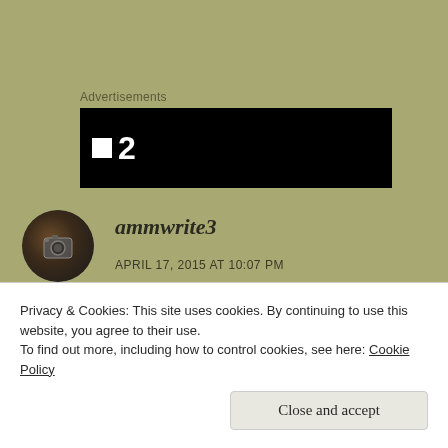Advertisements
[Figure (other): Black advertisement banner with white square icon and number 2]
[Figure (photo): Circular avatar photo of a person holding a camera]
ammwrite3
APRIL 17, 2015 AT 10:07 PM
Thanks, Pat, for taking us on this journey in
Privacy & Cookies: This site uses cookies. By continuing to use this website, you agree to their use.
To find out more, including how to control cookies, see here: Cookie Policy
Close and accept